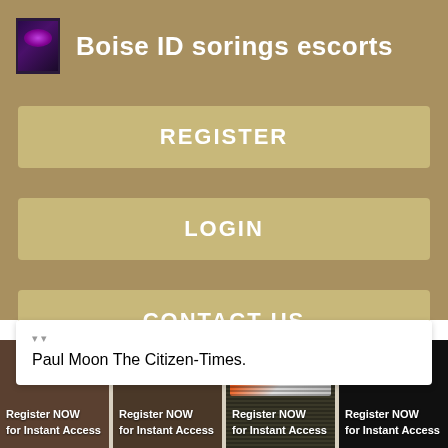Boise ID sorings escorts
REGISTER
LOGIN
CONTACT US
Paul Moon The Citizen-Times.
[Figure (screenshot): Four thumbnail images each with 'Register NOW for Instant Access' overlay text]
Register NOW for Instant Access